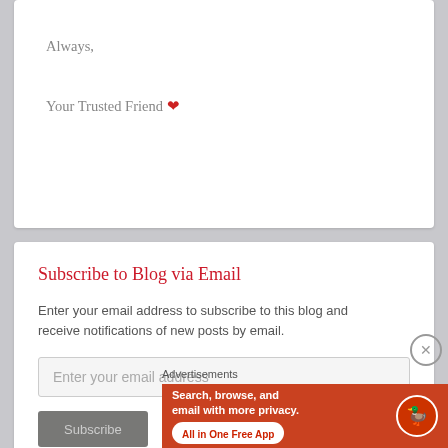Always,
Your Trusted Friend ❤
Subscribe to Blog via Email
Enter your email address to subscribe to this blog and receive notifications of new posts by email.
Enter your email address
Subscribe
Advertisements
[Figure (screenshot): DuckDuckGo advertisement banner: orange background with text 'Search, browse, and email with more privacy. All in One Free App' and DuckDuckGo logo on a smartphone mockup]